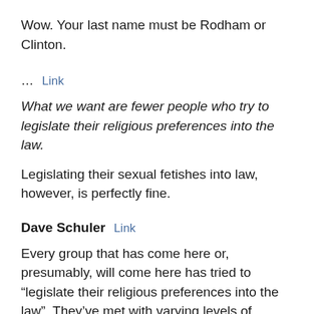Wow. Your last name must be Rodham or Clinton.
… Link
What we want are fewer people who try to legislate their religious preferences into the law.
Legislating their sexual fetishes into law, however, is perfectly fine.
Dave Schuler  Link
Every group that has come here or, presumably, will come here has tried to “legislate their religious preferences into the law”. They’ve met with varying levels of success.